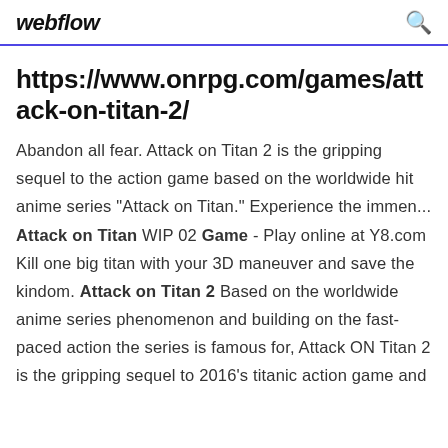webflow
https://www.onrpg.com/games/attack-on-titan-2/
Abandon all fear. Attack on Titan 2 is the gripping sequel to the action game based on the worldwide hit anime series "Attack on Titan." Experience the immen... Attack on Titan WIP 02 Game - Play online at Y8.com Kill one big titan with your 3D maneuver and save the kindom. Attack on Titan 2 Based on the worldwide anime series phenomenon and building on the fast-paced action the series is famous for, Attack ON Titan 2 is the gripping sequel to 2016's titanic action game and